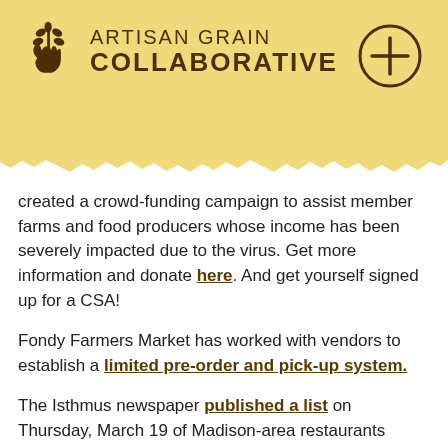[Figure (logo): Artisan Grain Collaborative logo with hand/grain icon and text, plus a circle-plus button in the top right corner]
created a crowd-funding campaign to assist member farms and food producers whose income has been severely impacted due to the virus. Get more information and donate here. And get yourself signed up for a CSA!
Fondy Farmers Market has worked with vendors to establish a limited pre-order and pick-up system.
The Isthmus newspaper published a list on Thursday, March 19 of Madison-area restaurants offering home delivery and carry out. And REAP Food Group has created a Restaurant Guide for their Farm Fresh Atlas membersG